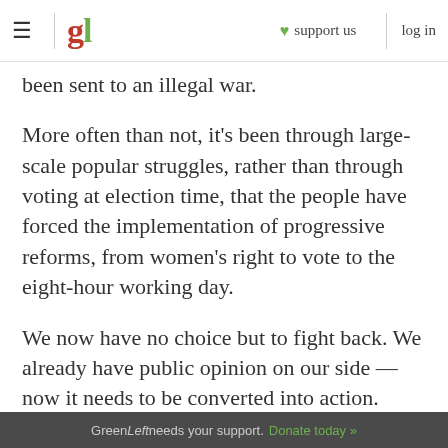gl  ♥ support us  log in
been sent to an illegal war.
More often than not, it's been through large-scale popular struggles, rather than through voting at election time, that the people have forced the implementation of progressive reforms, from women's right to vote to the eight-hour working day.
We now have no choice but to fight back. We already have public opinion on our side — now it needs to be converted into action.
From Green Left Weekly, November 3, 2004.
Green Left needs your support. Donate today »